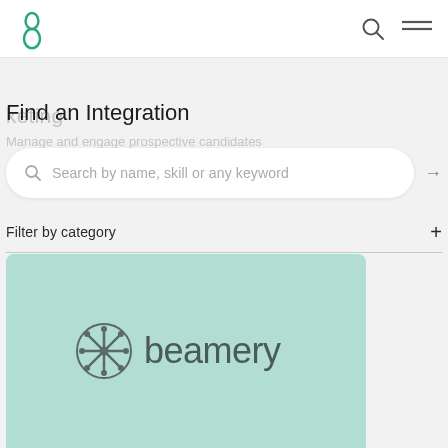Find an Integration
Search by name, skill or any keyword
Filter by category
[Figure (logo): Beamery logo on a mint/teal green background card]